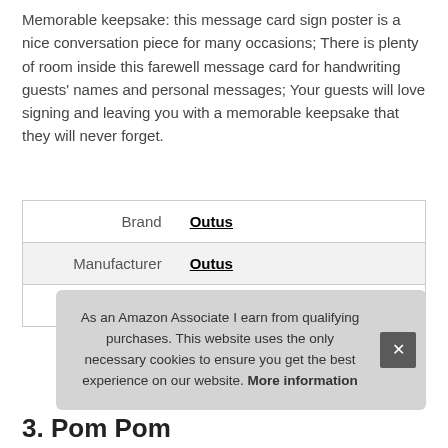Memorable keepsake: this message card sign poster is a nice conversation piece for many occasions; There is plenty of room inside this farewell message card for handwriting guests' names and personal messages; Your guests will love signing and leaving you with a memorable keepsake that they will never forget.
|  |  |
| --- | --- |
| Brand | Outus |
| Manufacturer | Outus |
| Part Number | Outus-1726 |
As an Amazon Associate I earn from qualifying purchases. This website uses the only necessary cookies to ensure you get the best experience on our website. More information
3. Pom Pom